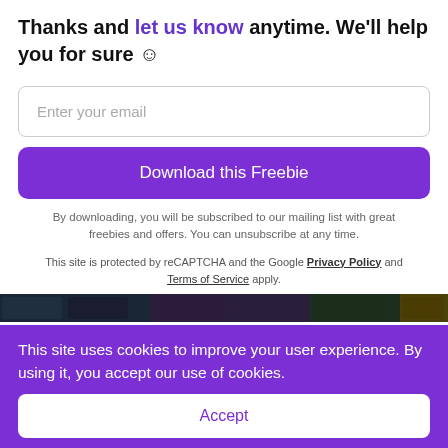Thanks and let us know anytime. We'll help you for sure ☺
Enter your email
Download this Freebie
By downloading, you will be subscribed to our mailing list with great freebies and offers. You can unsubscribe at any time.
This site is protected by reCAPTCHA and the Google Privacy Policy and Terms of Service apply.
[Figure (photo): Partial image strip showing book/resource thumbnails]
This site uses cookies to improve your user experience. By using it, you accept our use of cookies.
Accept